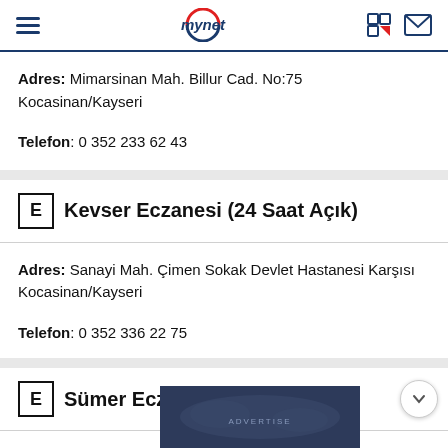mynet
Adres: Mimarsinan Mah. Billur Cad. No:75 Kocasinan/Kayseri
Telefon: 0 352 233 62 43
Kevser Eczanesi (24 Saat Açık)
Adres: Sanayi Mah. Çimen Sokak Devlet Hastanesi Karşısı Kocasinan/Kayseri
Telefon: 0 352 336 22 75
Sümer Eczanesi (24 Saat Açık)
[Figure (other): Advertisement banner with dark blue world map background]